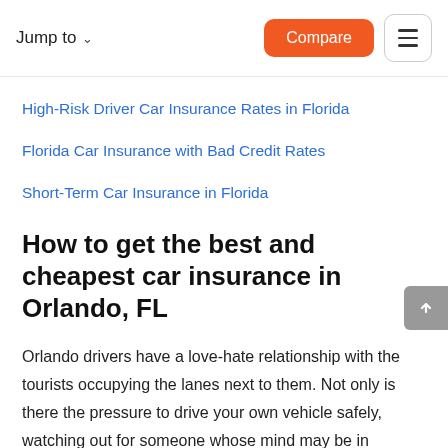Jump to   Compare
High-Risk Driver Car Insurance Rates in Florida
Florida Car Insurance with Bad Credit Rates
Short-Term Car Insurance in Florida
How to get the best and cheapest car insurance in Orlando, FL
Orlando drivers have a love-hate relationship with the tourists occupying the lanes next to them. Not only is there the pressure to drive your own vehicle safely, watching out for someone whose mind may be in vacation mode is an added responsibility.